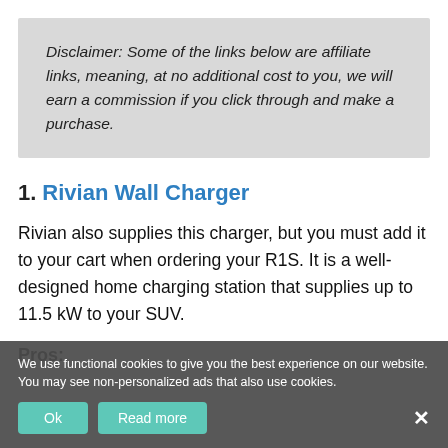Disclaimer: Some of the links below are affiliate links, meaning, at no additional cost to you, we will earn a commission if you click through and make a purchase.
1. Rivian Wall Charger
Rivian also supplies this charger, but you must add it to your cart when ordering your R1S. It is a well-designed home charging station that supplies up to 11.5 kW to your SUV.
Pros:
We use functional cookies to give you the best experience on our website. You may see non-personalized ads that also use cookies.